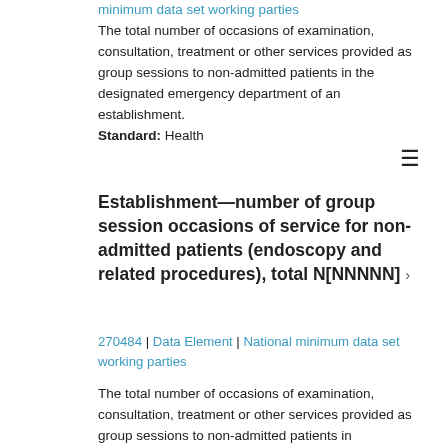minimum data set working parties The total number of occasions of examination, consultation, treatment or other services provided as group sessions to non-admitted patients in the designated emergency department of an establishment. Standard: Health
Establishment—number of group session occasions of service for non-admitted patients (endoscopy and related procedures), total N[NNNNN] ›
270484 | Data Element | National minimum data set working parties
The total number of occasions of examination, consultation, treatment or other services provided as group sessions to non-admitted patients in